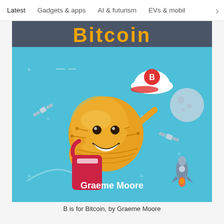Latest   Gadgets & apps   AI & futurism   EVs & mobil  >
[Figure (illustration): Book cover of 'B is for Bitcoin' by Graeme Moore. Shows a cartoon animated Bitcoin coin character with a face wearing a white cap with Bitcoin logo (B), holding a red object. Space-themed background in blue with satellites, moon, rocket, and plus signs scattered around. Text 'Bitcoin' appears at the top in orange/yellow, and 'Graeme Moore' at the bottom in white.]
B is for Bitcoin, by Graeme Moore